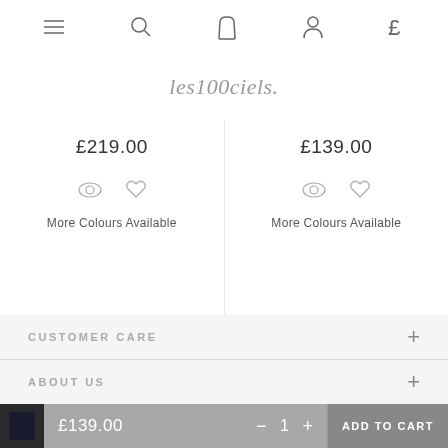[Figure (screenshot): Top navigation bar with hamburger menu, search, bag, account, and currency icons]
[Figure (logo): les100ciels brand logo in italic script]
£219.00
£139.00
More Colours Available
More Colours Available
CUSTOMER CARE
ABOUT US
£139.00  —  1  +  ADD TO CART